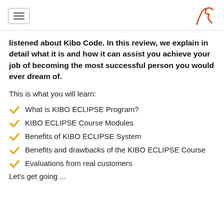[hamburger menu] [A logo]
listened about Kibo Code. In this review, we explain in detail what it is and how it can assist you achieve your job of becoming the most successful person you would ever dream of.
This is what you will learn:
What is KIBO ECLIPSE Program?
KIBO ECLIPSE Course Modules
Benefits of KIBO ECLIPSE System
Benefits and drawbacks of the KIBO ECLIPSE Course
Evaluations from real customers
Let's get going ...